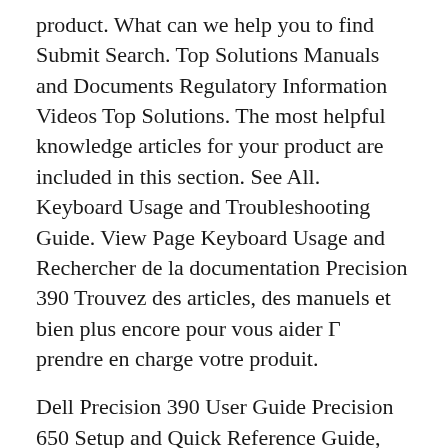product. What can we help you to find Submit Search. Top Solutions Manuals and Documents Regulatory Information Videos Top Solutions. The most helpful knowledge articles for your product are included in this section. See All. Keyboard Usage and Troubleshooting Guide. View Page Keyboard Usage and Rechercher de la documentation Precision 390 Trouvez des articles, des manuels et bien plus encore pour vous aider Г  prendre en charge votre produit.
Dell Precision 390 User Guide Precision 650 Setup and Quick Reference Guide, PDF (25146 KB). More Languages PDF, (4238 KB). Precision 650 Fan Locations Tech Sheet, PDF (791 KB). View and Download Dell Precision 390 quick reference manual online. Dell Workstation Quick